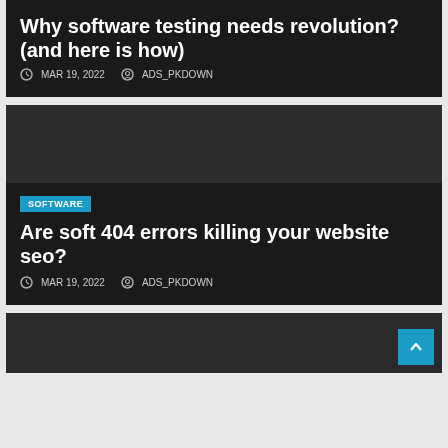Why software testing needs revolution? (and here is how)
MAR 19, 2022   ADS_PKDOWN
SOFTWARE
Are soft 404 errors killing your website seo?
MAR 19, 2022   ADS_PKDOWN